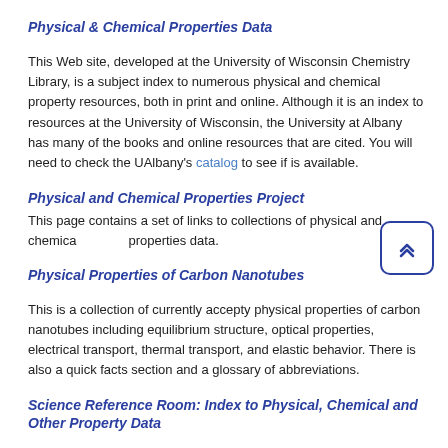Physical & Chemical Properties Data
This Web site, developed at the University of Wisconsin Chemistry Library, is a subject index to numerous physical and chemical property resources, both in print and online. Although it is an index to resources at the University of Wisconsin, the University at Albany has many of the books and online resources that are cited. You will need to check the UAlbany's catalog to see if is available.
Physical and Chemical Properties Project
This page contains a set of links to collections of physical and chemical properties data.
Physical Properties of Carbon Nanotubes
This is a collection of currently accepty physical properties of carbon nanotubes including equilibrium structure, optical properties, electrical transport, thermal transport, and elastic behavior. There is also a quick facts section and a glossary of abbreviations.
Science Reference Room: Index to Physical, Chemical and Other Property Data
This is an index to selected print and Internet resources that contain chemical, physical, thermodynamic, mechanical, toxicological, and safety data.